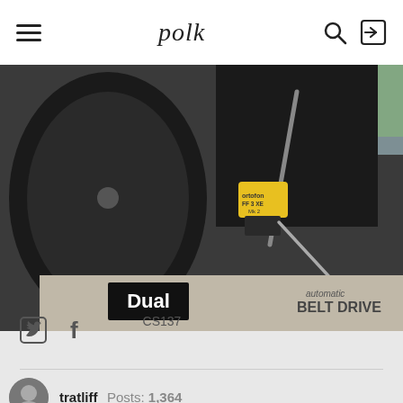polk
[Figure (photo): Close-up photo of a Dual automatic belt drive turntable (model CS137) with an Ortofon FF3 XE cartridge visible on the tonearm. The Dual logo in a white-on-black square label and 'automatic BELT DRIVE' text are visible on the silver aluminum plinth.]
[Figure (other): Twitter and Facebook social share icons]
tratliff  Posts: 1,364